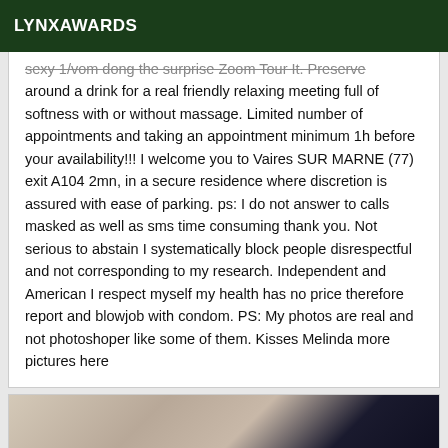LYNXAWARDS
sexy 1/vom dong the surprise Zoom Tour It. Preserve around a drink for a real friendly relaxing meeting full of softness with or without massage. Limited number of appointments and taking an appointment minimum 1h before your availability!!! I welcome you to Vaires SUR MARNE (77) exit A104 2mn, in a secure residence where discretion is assured with ease of parking. ps: I do not answer to calls masked as well as sms time consuming thank you. Not serious to abstain I systematically block people disrespectful and not corresponding to my research. Independent and American I respect myself my health has no price therefore report and blowjob with condom. PS: My photos are real and not photoshoper like some of them. Kisses Melinda more pictures here
[Figure (photo): Partial photo showing a person, cropped at bottom of page]